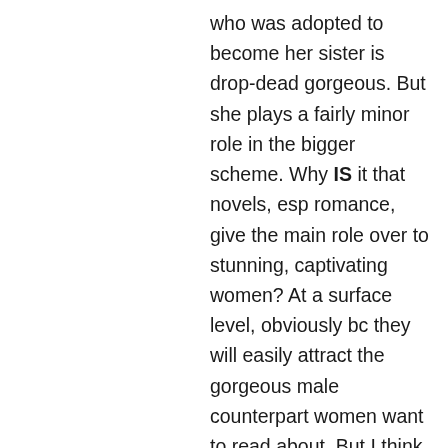who was adopted to become her sister is drop-dead gorgeous. But she plays a fairly minor role in the bigger scheme. Why IS it that novels, esp romance, give the main role over to stunning, captivating women? At a surface level, obviously bc they will easily attract the gorgeous male counterpart women want to read about. But I think